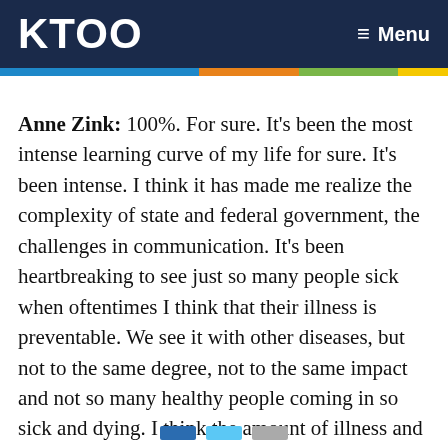KTOO  ≡ Menu
Anne Zink: 100%. For sure. It's been the most intense learning curve of my life for sure. It's been intense. I think it has made me realize the complexity of state and federal government, the challenges in communication. It's been heartbreaking to see just so many people sick when oftentimes I think that their illness is preventable. We see it with other diseases, but not to the same degree, not to the same impact and not so many healthy people coming in so sick and dying. I think the amount of illness and death and dying in the department is heartbreaking. It's really hard to see.